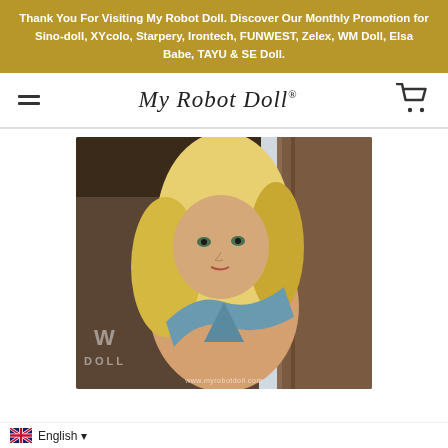Thank You For Visiting My Robot Doll. Discover Our Monthly Promotion for Sino-doll, XYcolo, Starpery, Irontech, FUNWEST, Zelex, WM Doll, Elsa Babe, TAYU & SE Doll.
My Robot Doll®
[Figure (photo): Product photo of a realistic female doll with blonde hair, green eyes, wearing a blue crossover top. WM Doll watermark visible. URL watermark: www.myrobotdoll.com]
English